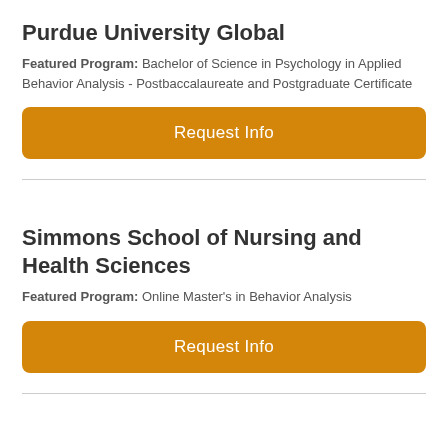Purdue University Global
Featured Program: Bachelor of Science in Psychology in Applied Behavior Analysis - Postbaccalaureate and Postgraduate Certificate
[Figure (other): Orange 'Request Info' button for Purdue University Global]
Simmons School of Nursing and Health Sciences
Featured Program: Online Master's in Behavior Analysis
[Figure (other): Orange 'Request Info' button for Simmons School of Nursing and Health Sciences]